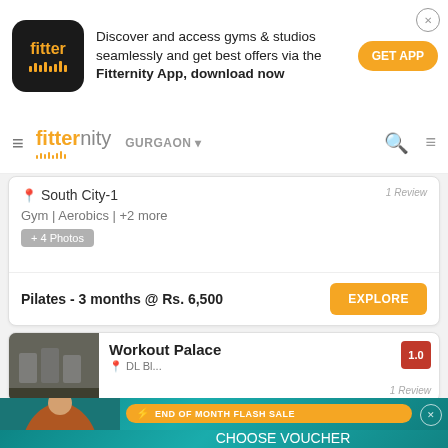[Figure (screenshot): Fitternity app top banner ad with logo, text and GET APP button]
[Figure (screenshot): Fitternity website navigation bar with hamburger menu, logo, GURGAON location, search and filter icons]
South City-1
1 Review
Gym | Aerobics | +2 more
+ 4 Photos
Pilates - 3 months @ Rs. 6,500
EXPLORE
Workout Palace
1.0
[Figure (photo): Gym interior with equipment for Workout Palace listing]
[Figure (infographic): End of Month Flash Sale overlay banner with man exercising and voucher worth Rs. 1,000 offer]
END OF MONTH FLASH SALE
CHOOSE VOUCHER
WORTH ₹1,000
From Top Brands Like Amazon, Zomato, Starbucks & More